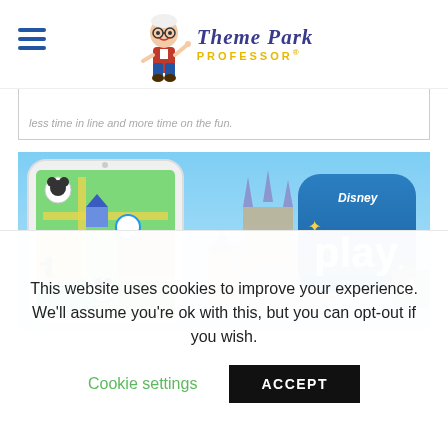Theme Park Professor
less time in line and more time on the fun.
[Figure (screenshot): Disney Play app promotional banner showing a smartphone with a colorful theme park map (Disneyland) and the Disney Play app icon on a blue background with Sleeping Beauty Castle in the distance]
This website uses cookies to improve your experience. We'll assume you're ok with this, but you can opt-out if you wish.
Cookie settings
ACCEPT